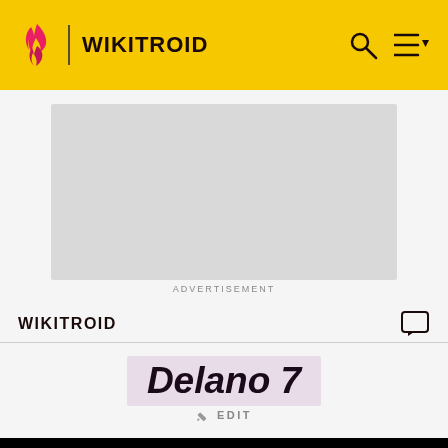WIKITROID
[Figure (screenshot): Advertisement placeholder - gray rectangle]
ADVERTISEMENT
WIKITROID
Delano 7
EDIT
[Figure (screenshot): Black image area at the bottom of the page]